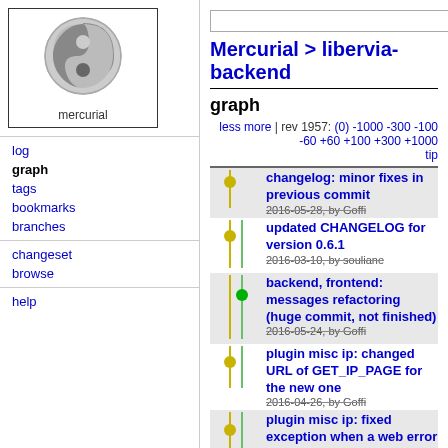[Figure (logo): Mercurial logo - grey yin-yang style symbol with text 'mercurial' below, inside a bordered box]
log
graph
tags
bookmarks
branches
changeset
browse
help
Mercurial > libervia-backend
graph
less more | rev 1957: (0) -1000 -300 -100 -60 +60 +100 +300 +1000 tip
changelog: minor fixes in previous commit
2016-05-28, by Goffi
updated CHANGELOG for version 0.6.1
2016-03-10, by souliane
backend, frontend: messages refactoring (huge commit, not finished)
2016-05-24, by Goffi
plugin misc ip: changed URL of GET_IP_PAGE for the new one
2016-04-26, by Goffi
plugin misc ip: fixed exception when a web error happen while retrieving IP from external website
2016-04-26, by Goffi
primitivus: fixed window resize was blocked by paste
2016-04-26, by Goffi
jp: added consts for exit codes, not used yet
2016-04-23, by Goffi
jp: --output option:
2016-04-23, by Goffi